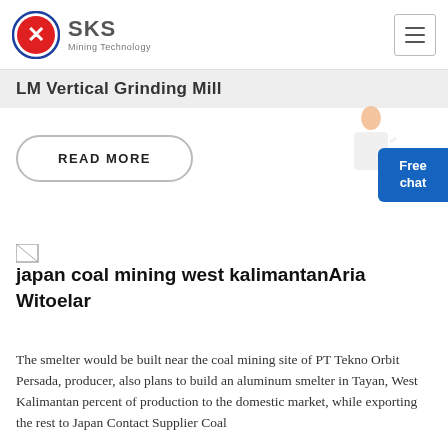SKS Mining Technology
LM Vertical Grinding Mill
READ MORE
[Figure (illustration): Small broken image placeholder icon]
japan coal mining west kalimantanAria Witoelar
The smelter would be built near the coal mining site of PT Tekno Orbit Persada, producer, also plans to build an aluminum smelter in Tayan, West Kalimantan percent of production to the domestic market, while exporting the rest to Japan Contact Supplier Coal